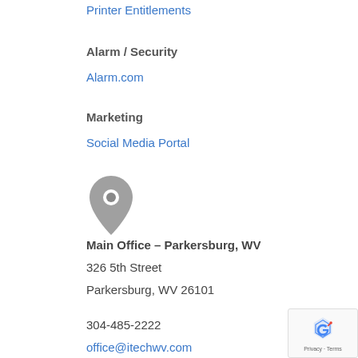Printer Entitlements
Alarm / Security
Alarm.com
Marketing
Social Media Portal
[Figure (illustration): Gray map pin / location marker icon]
Main Office – Parkersburg, WV
326 5th Street
Parkersburg, WV 26101
304-485-2222
office@itechwv.com